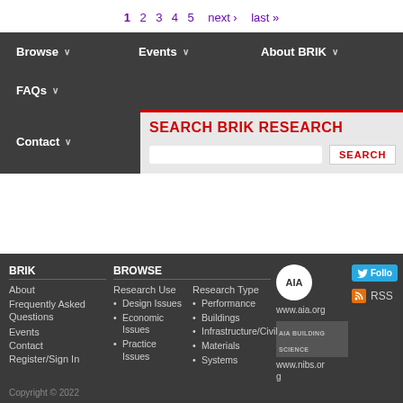1 2 3 4 5 next › last »
SEARCH BRIK RESEARCH
Browse ∨  Events ∨  About BRIK ∨  FAQs ∨  Contact ∨
SEARCH
BRIK
About
Frequently Asked Questions
Events
Contact
Register/Sign In
BROWSE
Research Use
Design Issues
Economic Issues
Practice Issues
Research Type
Performance
Buildings
Infrastructure/Civil
Materials
Systems
www.aia.org
www.nibs.org
Follow
RSS
Copyright © 2022